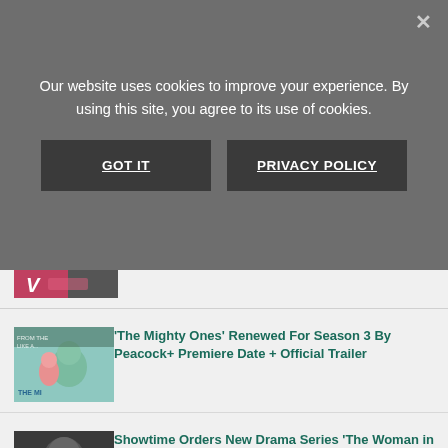Our website uses cookies to improve your experience. By using this site, you agree to its use of cookies.
GOT IT
PRIVACY POLICY
[Figure (screenshot): Partially visible article thumbnail with pink/dark gradient and V logo]
[Figure (screenshot): The Mighty Ones animated show thumbnail showing cartoon characters]
'The Mighty Ones' Renewed For Season 3 By Peacock+ Premiere Date + Official Trailer
[Figure (screenshot): Showtime drama series thumbnail showing dark background]
Showtime Orders New Drama Series 'The Woman in the Wall'